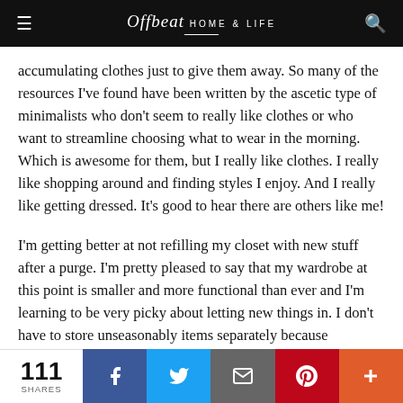Offbeat HOME & LIFE
accumulating clothes just to give them away. So many of the resources I've found have been written by the ascetic type of minimalists who don't seem to really like clothes or who want to streamline choosing what to wear in the morning. Which is awesome for them, but I really like clothes. I really like shopping around and finding styles I enjoy. And I really like getting dressed. It's good to hear there are others like me!
I'm getting better at not refilling my closet with new stuff after a purge. I'm pretty pleased to say that my wardrobe at this point is smaller and more functional than ever and I'm learning to be very picky about letting new things in. I don't have to store unseasonably items separately because everything fits! The editing process never ends, but it's a
111 SHARES